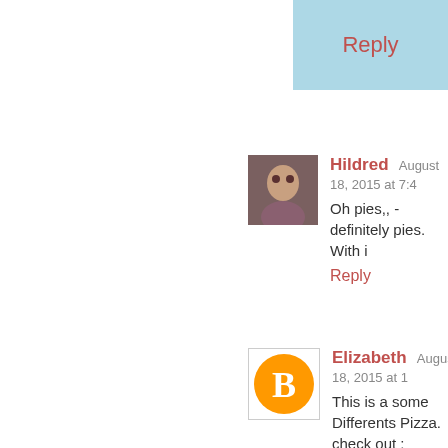Reply
Hildred  August 18, 2015 at 7:4...
Oh pies,, - definitely pies. With i...
Reply
Elizabeth  August 18, 2015 at 1...
This is a some Differents Pizza. check out : http://www.yolenis.u...
Reply
Anonymous  August 20, 2015 a...
Sorry to be a bit late with the co... very light syrup and eat them a... or so depending on the variety ... cup sugar to 6 cups of water...